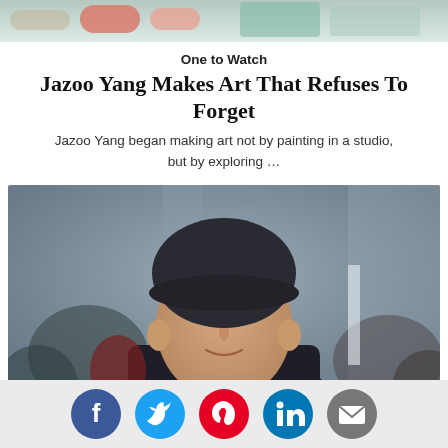[Figure (photo): Cropped top portion of a photo showing colorful objects (appears to be hands or art supplies) on a surface with teal/green background]
One to Watch
Jazoo Yang Makes Art That Refuses To Forget
Jazoo Yang began making art not by painting in a studio, but by exploring …
[Figure (photo): Portrait photograph of a man wearing a dark beret/cap and dark jacket, smiling slightly, in an indoor setting with blurred crowd in background]
[Figure (infographic): Social sharing bar with five circular icons: Facebook (blue), Twitter (light blue), Pinterest (red), LinkedIn (blue), Email (gray)]